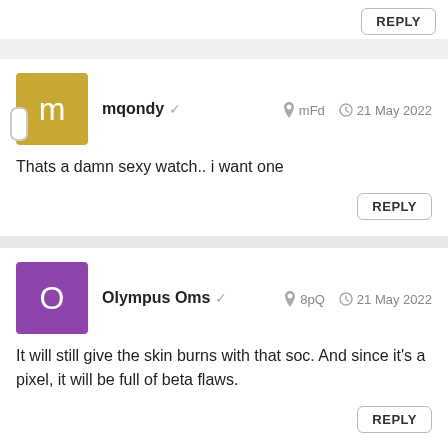REPLY
mqondy ✓  mFd  21 May 2022
Thats a damn sexy watch.. i want one
REPLY
Olympus Oms ✓  8pQ  21 May 2022
It will still give the skin burns with that soc. And since it's a pixel, it will be full of beta flaws.
REPLY